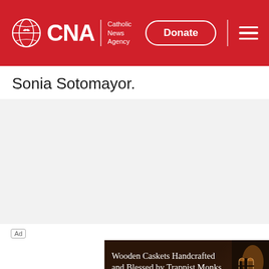CNA Catholic News Agency | Donate | Menu
Sonia Sotomayor.
[Figure (other): Large grey advertisement placeholder area]
Ad
[Figure (photo): Advertisement banner: Wooden Caskets Handcrafted and Blessed by Trappist Monks with gothic window image]